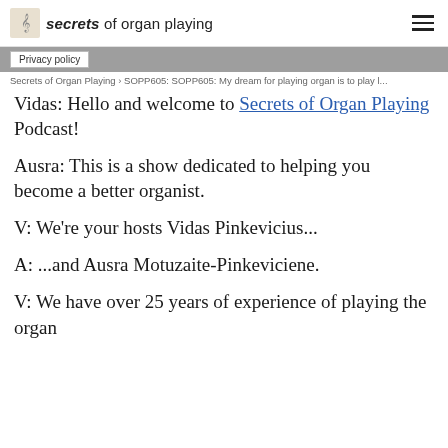secrets of organ playing
Privacy policy
Secrets of Organ Playing › SOPP605: SOPP605: My dream for playing organ is to play l...
Vidas: Hello and welcome to Secrets of Organ Playing Podcast!
Ausra: This is a show dedicated to helping you become a better organist.
V: We're your hosts Vidas Pinkevicius...
A: ...and Ausra Motuzaite-Pinkeviciene.
V: We have over 25 years of experience of playing the organ